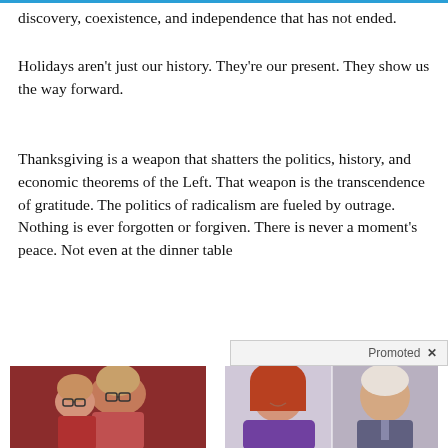discovery, coexistence, and independence that has not ended.
Holidays aren't just our history. They're our present. They show us the way forward.
Thanksgiving is a weapon that shatters the politics, history, and economic theorems of the Left. That weapon is the transcendence of gratitude. The politics of radicalism are fueled by outrage. Nothing is ever forgotten or forgiven. There is never a moment's peace. Not even at the dinner table
Promoted ×
[Figure (photo): Retro family portrait photo with older woman and young child with glasses in red clothing]
[Figure (photo): Split photo showing a red-haired woman smiling and an older man in suits]
These Strange Family Photos Will Make You Cringe!
🔥 23,889
Most People Don't Know These Facts About Jen Psaki (#2 Is Shocking!)
🔥 32,824